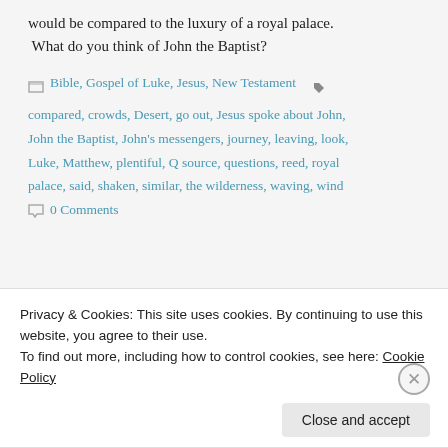would be compared to the luxury of a royal palace. What do you think of John the Baptist?
Bible, Gospel of Luke, Jesus, New Testament  compared, crowds, Desert, go out, Jesus spoke about John, John the Baptist, John's messengers, journey, leaving, look, Luke, Matthew, plentiful, Q source, questions, reed, royal palace, said, shaken, similar, the wilderness, waving, wind
0 Comments
Privacy & Cookies: This site uses cookies. By continuing to use this website, you agree to their use.
To find out more, including how to control cookies, see here: Cookie Policy
Close and accept